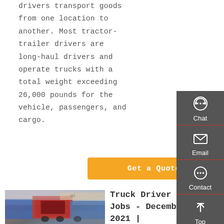drivers transport goods from one location to another. Most tractor-trailer drivers are long-haul drivers and operate trucks with a total weight exceeding 26,000 pounds for the vehicle, passengers, and cargo.
Get a Quote
[Figure (photo): Red truck/tractor-trailer viewed from behind at a loading dock or yard, with blue trailers visible.]
Truck Driver Jobs - December 2021 |